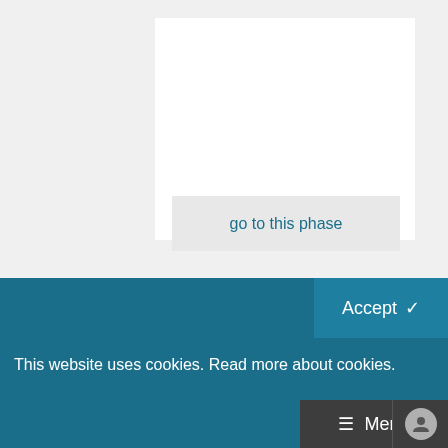PhD graduation for completing your PhD
go to this phase
Accept
This website uses cookies. Read more about cookies.
Menu